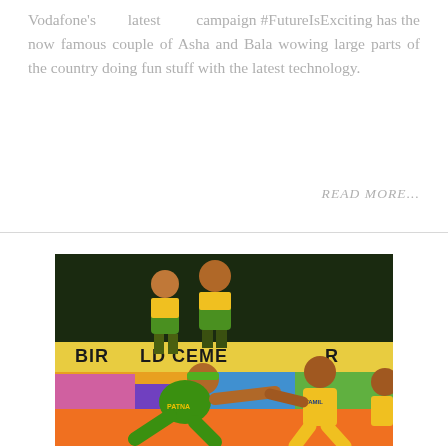Vodafone's latest campaign #FutureIsExciting has the now famous couple of Asha and Bala wowing large parts of the country doing fun stuff with the latest technology.
READ MORE...
[Figure (photo): Kabaddi match photo showing players in green and yellow jerseys on a colorful court with a Birla Gold Cement advertisement banner in the background]